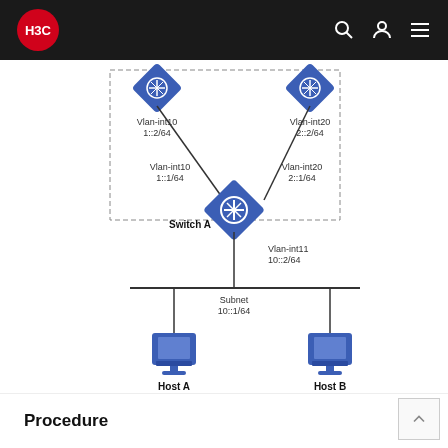H3C
[Figure (network-graph): Network topology diagram showing Switch A connected to two upper switches via Vlan-int10 (1::1/64, 1::2/64) and Vlan-int20 (2::1/64, 2::2/64), and connected below via Vlan-int11 (10::2/64) to a subnet (10::1/64) with Host A (10::3/64, Gateway: 10::2/64) and Host B.]
Procedure